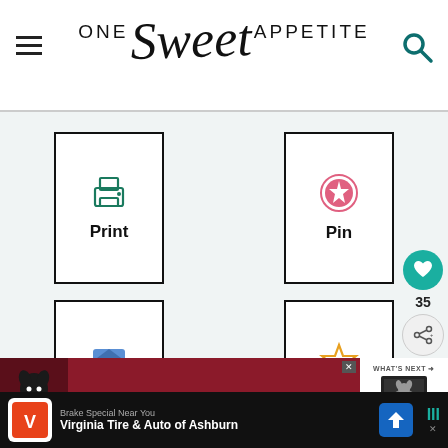ONE Sweet APPETITE
[Figure (screenshot): Social action buttons grid with Print, Pin, Share, Rate buttons in bordered boxes]
[Figure (infographic): Floating sidebar with teal heart button showing count 35 and share button]
[Figure (photo): Advertisement banner showing a dog and text CHANGE A LIFE in dark red with What's Next panel showing Easy Halloween...]
[Figure (screenshot): Bottom advertisement bar for Virginia Tire and Auto of Ashburn]